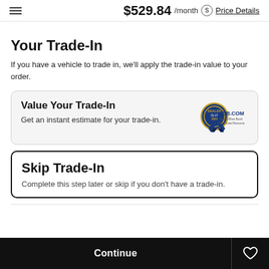$529.84 /month Price Details
Your Trade-In
If you have a vehicle to trade in, we'll apply the trade-in value to your order.
[Figure (screenshot): Card with 'Value Your Trade-In' heading, subtext 'Get an instant estimate for your trade-in.' and KBB.com logo/badge on right side]
Skip Trade-In
Complete this step later or skip if you don't have a trade-in.
Continue